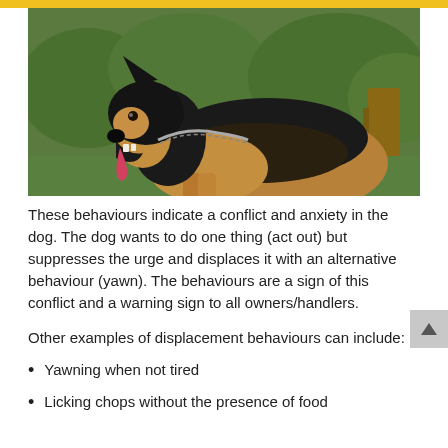[Figure (photo): A German Shepherd dog outdoors with mouth open and tongue out, wearing a chain collar, with green foliage in the background.]
These behaviours indicate a conflict and anxiety in the dog. The dog wants to do one thing (act out) but suppresses the urge and displaces it with an alternative behaviour (yawn). The behaviours are a sign of this conflict and a warning sign to all owners/handlers.
Other examples of displacement behaviours can include:
Yawning when not tired
Licking chops without the presence of food